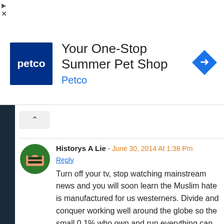[Figure (infographic): Petco advertisement banner: Petco dark blue logo square on left, text 'Your One-Stop Summer Pet Shop' and 'Petco' in blue, blue diamond navigation icon on right]
Historys A Lie - June 30, 2014 At 1:38 Pm
Reply
Turn off your tv, stop watching mainstream news and you will soon learn the Muslim hate is manufactured for us westerners. Divide and conquer working well around the globe so the small 0.1% who own and run everything can keep owning and running EVERYTHING. I understand there r extremists, I also know money pays them ☺ follow the money and you will soon see CIA, Mossad, MI6 helped create them